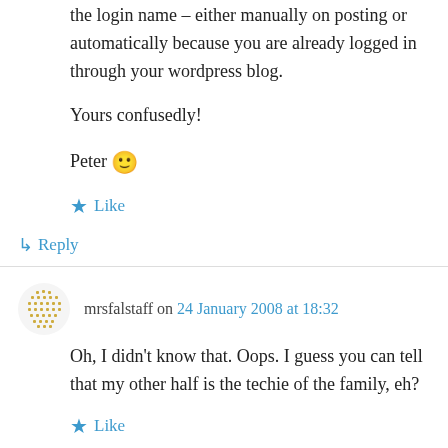the login name – either manually on posting or automatically because you are already logged in through your wordpress blog.
Yours confusedly!
Peter 🙂
Like
↳ Reply
mrsfalstaff on 24 January 2008 at 18:32
Oh, I didn't know that. Oops. I guess you can tell that my other half is the techie of the family, eh?
Like
↳ Reply